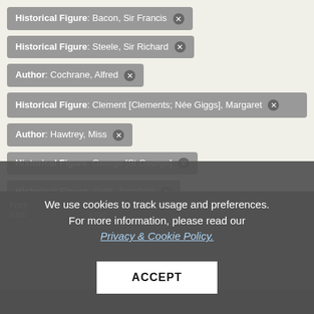Historical Figure: Bacon, Sir Francis ✕
Historical Figure: Steele, Sir Richard ✕
Author: Cochrane, Alfred ✕
Historical Figure: Clement [Clements; Née Giggs], Margaret ✕
Author: Hawtrey, Miss ✕
Historical Figure: George [St George] ✕
Historical Figure: Swift, Jonathan ✕
We use cookies to track usage and preferences. For more information, please read our Privacy & Cookie Policy.
ACCEPT